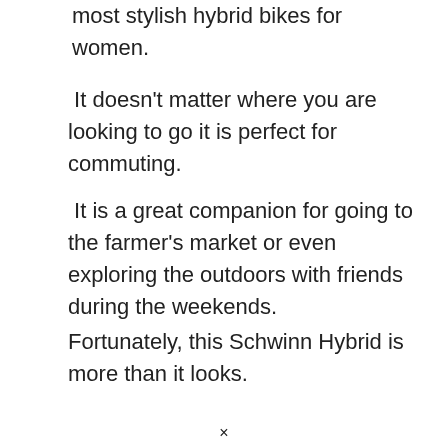most stylish hybrid bikes for women.
It doesn't matter where you are looking to go it is perfect for commuting.
It is a great companion for going to the farmer's market or even exploring the outdoors with friends during the weekends.
Fortunately, this Schwinn Hybrid is more than it looks.
×